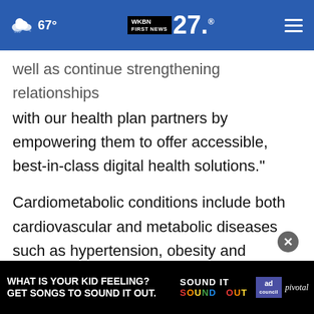67° WKBN FIRST NEWS 27.
well as continue strengthening relationships with our health plan partners by empowering them to offer accessible, best-in-class digital health solutions."
Cardiometabolic conditions include both cardiovascular and metabolic diseases such as hypertension, obesity and diabetes. The addition of Solera's curated network of hypertension solutions allows users with these intersecting conditions to compare r
[Figure (screenshot): Advertisement overlay at bottom of page: black background with white text 'WHAT IS YOUR KID FEELING? GET SONGS TO SOUND IT OUT.' with colorful 'SOUND IT OUT' logo and Ad Council / pivotal logos]